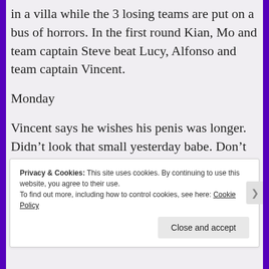in a villa while the 3 losing teams are put on a bus of horrors. In the first round Kian, Mo and team captain Steve beat Lucy, Alfonso and team captain Vincent.
Monday
Vincent says he wishes his penis was longer. Didn’t look that small yesterday babe. Don’t worry yourself! He says Alfonso doesn’t have that problem.
David says that he thinks style is not a fixed thing
Privacy & Cookies: This site uses cookies. By continuing to use this website, you agree to their use.
To find out more, including how to control cookies, see here: Cookie Policy